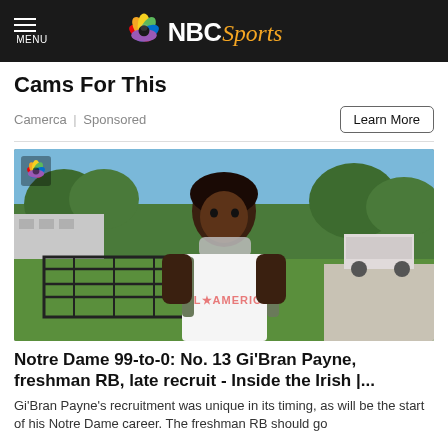NBC Sports
Cams For This
Camerca | Sponsored
[Figure (photo): Young male athlete wearing an All America jersey and neck gaiter, standing outdoors near a fence with green grass and trees in background. NBC Sports logo watermark in upper left corner.]
Notre Dame 99-to-0: No. 13 Gi'Bran Payne, freshman RB, late recruit - Inside the Irish |...
Gi'Bran Payne's recruitment was unique in its timing, as will be the start of his Notre Dame career. The freshman RB should go